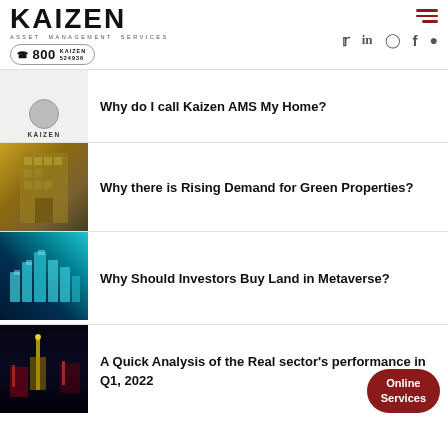[Figure (logo): Kaizen Asset Management Services logo with phone number 800 KAIZEN 524936 and social media icons (Twitter, LinkedIn, Instagram, Facebook, WhatsApp)]
Why do I call Kaizen AMS My Home?
Why there is Rising Demand for Green Properties?
Why Should Investors Buy Land in Metaverse?
A Quick Analysis of the Real sector's performance in Q1, 2022